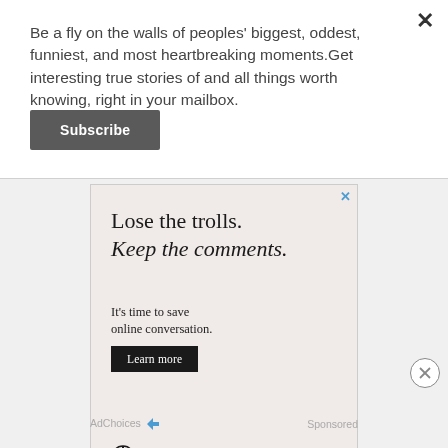Be a fly on the walls of peoples' biggest, oddest, funniest, and most heartbreaking moments.Get interesting true stories of and all things worth knowing, right in your mailbox.
Subscribe
[Figure (screenshot): Advertisement banner for OpenWeb with text 'Lose the trolls. Keep the comments. It's time to save online conversation.' with a 'Learn more' button and the OpenWeb logo at the bottom.]
AdChoices  Sponsored